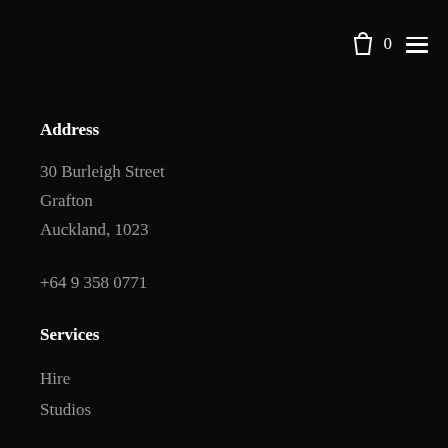0 ☰
Address
30 Burleigh Street
Grafton
Auckland, 1023
+64 9 358 0771
Services
Hire
Studios
About
Faqs
Contact